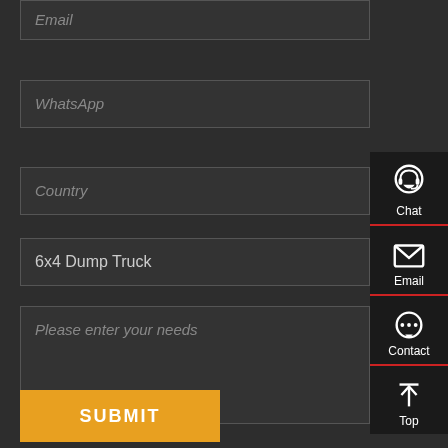[Figure (screenshot): Web contact form with fields for Email, WhatsApp, Country, product selection (6x4 Dump Truck), and message area, plus a Submit button and a side navigation panel with Chat, Email, Contact, and Top icons]
Email
WhatsApp
Country
6x4 Dump Truck
Please enter your needs
SUBMIT
Chat
Email
Contact
Top